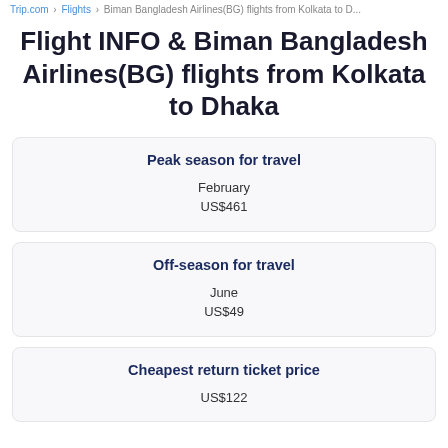Trip.com › Flights › Biman Bangladesh Airlines(BG) flights from Kolkata to D...
Flight INFO & Biman Bangladesh Airlines(BG) flights from Kolkata to Dhaka
| Peak season for travel |
| --- |
| February |
| US$461 |
| Off-season for travel |
| --- |
| June |
| US$49 |
| Cheapest return ticket price |
| --- |
| US$122 |